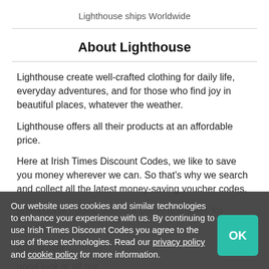Lighthouse ships Worldwide
About Lighthouse
Lighthouse create well-crafted clothing for daily life, everyday adventures, and for those who find joy in beautiful places, whatever the weather.
Lighthouse offers all their products at an affordable price.
Here at Irish Times Discount Codes, we like to save you money wherever we can. So that’s why we search and collect all the latest money-saving voucher codes,
promotional codes, discount codes and deals for
Our website uses cookies and similar technologies to enhance your experience with us. By continuing to use Irish Times Discount Codes you agree to the use of these technologies. Read our privacy policy and cookie policy for more information.